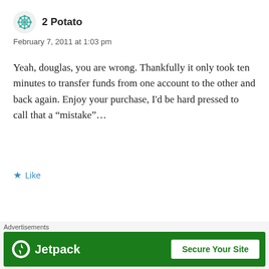2 Potato
February 7, 2011 at 1:03 pm
Yeah, douglas, you are wrong. Thankfully it only took ten minutes to transfer funds from one account to the other and back again. Enjoy your purchase, I'd be hard pressed to call that a “mistake”...
Like
REPLY
Advertisements
[Figure (screenshot): Partial advertisement banner showing Meta, Facebook, and ViralPost logos/cards with text 'We're the' partially visible]
Advertisements
[Figure (screenshot): Jetpack advertisement banner with green background, Jetpack logo and 'Secure Your Site' button]